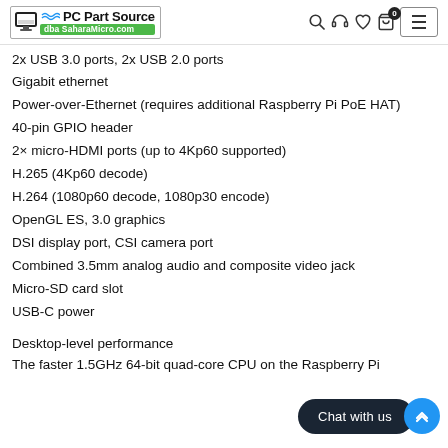PC Part Source dba SaharaMicro.com
2x USB 3.0 ports, 2x USB 2.0 ports
Gigabit ethernet
Power-over-Ethernet (requires additional Raspberry Pi PoE HAT)
40-pin GPIO header
2× micro-HDMI ports (up to 4Kp60 supported)
H.265 (4Kp60 decode)
H.264 (1080p60 decode, 1080p30 encode)
OpenGL ES, 3.0 graphics
DSI display port, CSI camera port
Combined 3.5mm analog audio and composite video jack
Micro-SD card slot
USB-C power
Desktop-level performance
The faster 1.5GHz 64-bit quad-core CPU on the Raspberry Pi